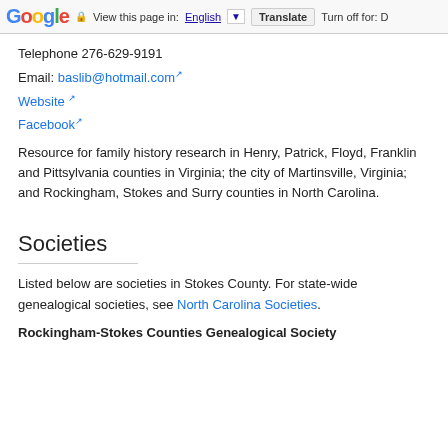Google | View this page in: English | Translate | Turn off for: D
Telephone 276-629-9191
Email: baslib@hotmail.com
Website
Facebook
Resource for family history research in Henry, Patrick, Floyd, Franklin and Pittsylvania counties in Virginia; the city of Martinsville, Virginia; and Rockingham, Stokes and Surry counties in North Carolina.
Societies
Listed below are societies in Stokes County. For state-wide genealogical societies, see North Carolina Societies.
Rockingham-Stokes Counties Genealogical Society